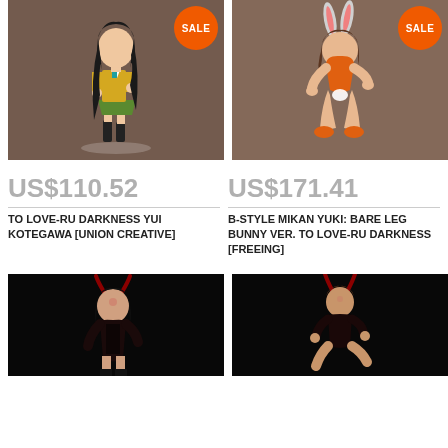[Figure (photo): Anime figure of Yui Kotegawa from To Love-Ru Darkness in school uniform, standing pose, brown textured background, SALE badge]
[Figure (photo): Anime figure of Mikan Yuki from To Love-Ru Darkness in orange bunny outfit, kneeling pose, brown textured background, SALE badge]
US$110.52
US$171.41
TO LOVE-RU DARKNESS YUI KOTEGAWA [UNION CREATIVE]
B-STYLE MIKAN YUKI: BARE LEG BUNNY VER. TO LOVE-RU DARKNESS [FREEING]
[Figure (photo): Anime figure of dark-haired character in black outfit with demon horns, black background]
[Figure (photo): Anime figure of brown-haired character in dark outfit with demon horns, black background]